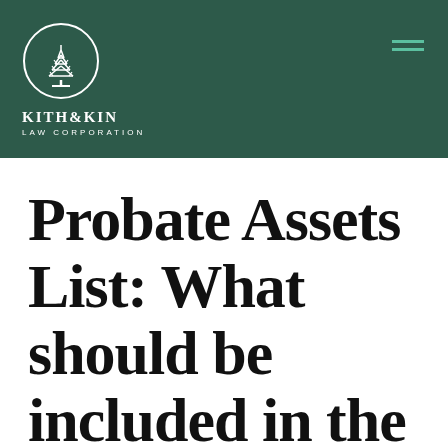[Figure (logo): Kith & Kin Law Corporation logo: circular emblem with stylized tree, white on dark green background, with company name KITH & KIN and subtitle LAW CORPORATION below]
Probate Assets List: What should be included in the Schedule of Assets?